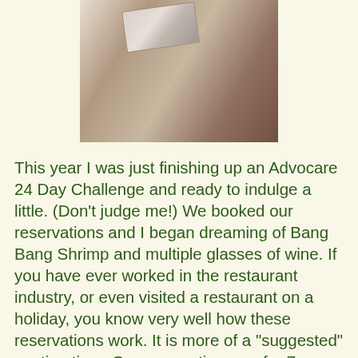[Figure (photo): A photograph showing what appears to be a watch or small object on a light-colored surface with a textured/stone background]
This year I was just finishing up an Advocare 24 Day Challenge and ready to indulge a little. (Don't judge me!) We booked our reservations and I began dreaming of Bang Bang Shrimp and multiple glasses of wine. If you have ever worked in the restaurant industry, or even visited a restaurant on a holiday, you know very well how these reservations work. It is more of a "suggested" seating time. Our reservation was for 7pm and around 7:30 they called our name. J noticed an elderly couple that arrive before us had not been seated, but we were being escorted to our table. (I rewrote that scenario three times, hopefully it makes sense) At first, we didn't think much of it but then I overheard the man say they had been there since 6:45. We sat down, ordered my dreamy glass of wine and I asked J if they were still standing there. He confirmed and I felt the Lord nudge me to invite them to sit with us. It just so happened that they sat us at a table with four chairs, sometimes God couldn't